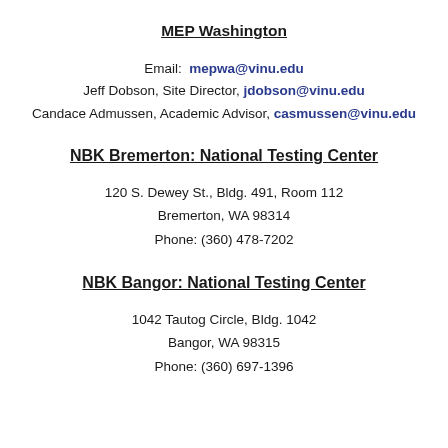MEP Washington
Email: mepwa@vinu.edu
Jeff Dobson, Site Director, jdobson@vinu.edu
Candace Admussen, Academic Advisor, casmussen@vinu.edu
NBK Bremerton: National Testing Center
120 S. Dewey St., Bldg. 491, Room 112
Bremerton, WA 98314
Phone: (360) 478-7202
NBK Bangor: National Testing Center
1042 Tautog Circle, Bldg. 1042
Bangor, WA 98315
Phone: (360) 697-1396